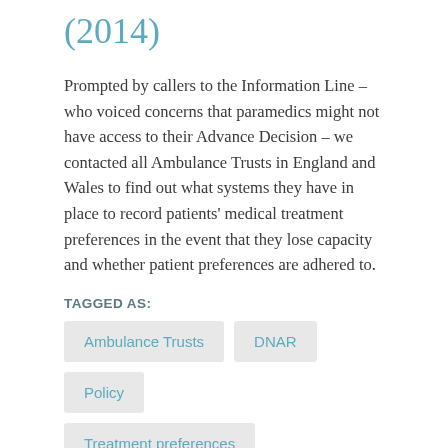(2014)
Prompted by callers to the Information Line – who voiced concerns that paramedics might not have access to their Advance Decision – we contacted all Ambulance Trusts in England and Wales to find out what systems they have in place to record patients' medical treatment preferences in the event that they lose capacity and whether patient preferences are adhered to.
TAGGED AS:
Ambulance Trusts
DNAR
Policy
Treatment preferences